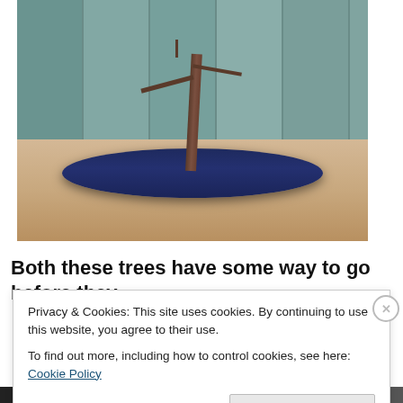[Figure (photo): A bonsai tree with bare branches planted in a dark blue oval pot filled with reddish-brown gravel/soil, placed on a wooden surface in front of a teal/green painted wooden fence backdrop.]
Both these trees have some way to go before they
Privacy & Cookies: This site uses cookies. By continuing to use this website, you agree to their use.
To find out more, including how to control cookies, see here: Cookie Policy
Close and accept